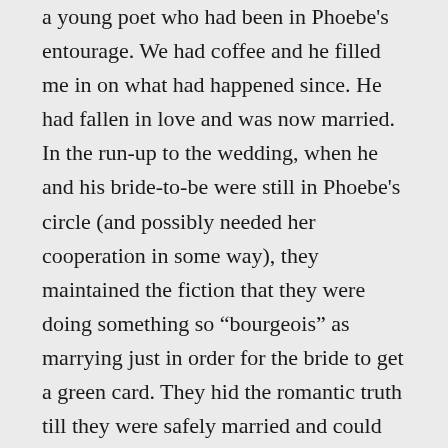a young poet who had been in Phoebe's entourage. We had coffee and he filled me in on what had happened since. He had fallen in love and was now married. In the run-up to the wedding, when he and his bride-to-be were still in Phoebe's circle (and possibly needed her cooperation in some way), they maintained the fiction that they were doing something so “bourgeois” as marrying just in order for the bride to get a green card. They hid the romantic truth till they were safely married and could move out of the orbit of Phoebe's influence!
The poet told me one other story about Phoebe. She had finally succeeded in becoming the lover of my ex-beau. Their